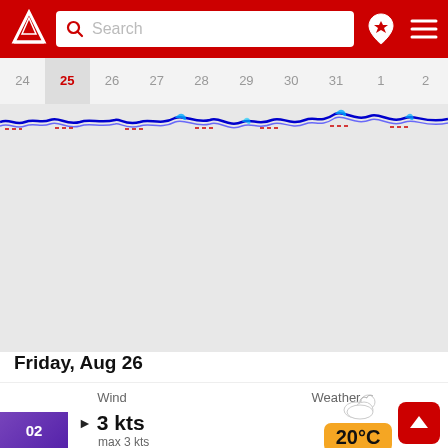[Figure (screenshot): App top navigation bar with red background, logo, search bar, location pin and hamburger menu icons]
[Figure (other): Horizontal date strip showing dates 24 through 2, with 25 highlighted in red on grey background]
[Figure (continuous-plot): Tidal/weather chart area showing blue wave chart on grey background spanning dates 24-2]
Friday, Aug 26
Wind
Weather
02
3 kts
max 3 kts
20°C
991 hPa